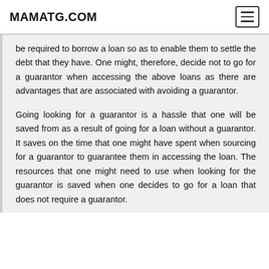MAMATG.COM
be required to borrow a loan so as to enable them to settle the debt that they have. One might, therefore, decide not to go for a guarantor when accessing the above loans as there are advantages that are associated with avoiding a guarantor.
Going looking for a guarantor is a hassle that one will be saved from as a result of going for a loan without a guarantor. It saves on the time that one might have spent when sourcing for a guarantor to guarantee them in accessing the loan. The resources that one might need to use when looking for the guarantor is saved when one decides to go for a loan that does not require a guarantor.